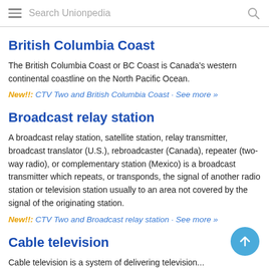Search Unionpedia
British Columbia Coast
The British Columbia Coast or BC Coast is Canada's western continental coastline on the North Pacific Ocean.
New!!: CTV Two and British Columbia Coast · See more »
Broadcast relay station
A broadcast relay station, satellite station, relay transmitter, broadcast translator (U.S.), rebroadcaster (Canada), repeater (two-way radio), or complementary station (Mexico) is a broadcast transmitter which repeats, or transponds, the signal of another radio station or television station usually to an area not covered by the signal of the originating station.
New!!: CTV Two and Broadcast relay station · See more »
Cable television
Cable television is a system of delivering television...